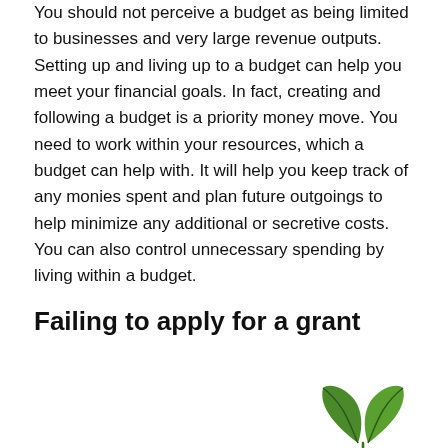You should not perceive a budget as being limited to businesses and very large revenue outputs. Setting up and living up to a budget can help you meet your financial goals. In fact, creating and following a budget is a priority money move. You need to work within your resources, which a budget can help with. It will help you keep track of any monies spent and plan future outgoings to help minimize any additional or secretive costs. You can also control unnecessary spending by living within a budget.
Failing to apply for a grant
[Figure (illustration): Green leaf/sprout illustration in the bottom-right corner of the page]